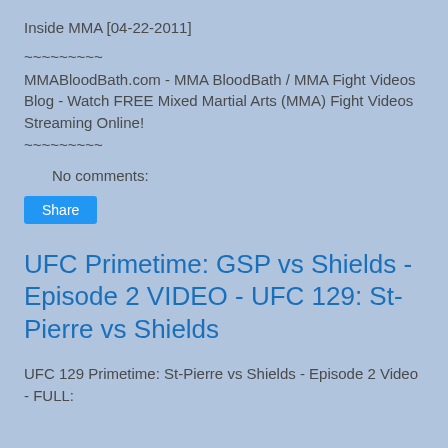Inside MMA [04-22-2011]
~~~~~~~~~
MMABloodBath.com - MMA BloodBath / MMA Fight Videos Blog - Watch FREE Mixed Martial Arts (MMA) Fight Videos Streaming Online!
~~~~~~~~~
No comments:
Share
UFC Primetime: GSP vs Shields - Episode 2 VIDEO - UFC 129: St-Pierre vs Shields
UFC 129 Primetime: St-Pierre vs Shields - Episode 2 Video - FULL: